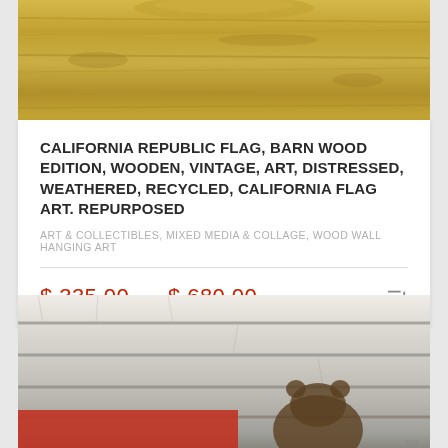[Figure (photo): Top portion of a California Republic barn wood flag art product photo showing aged yellow-brown vintage wood texture]
CALIFORNIA REPUBLIC FLAG, BARN WOOD EDITION, WOODEN, VINTAGE, ART, DISTRESSED, WEATHERED, RECYCLED, CALIFORNIA FLAG ART. REPURPOSED
ART & COLLECTIBLES, MIXED MEDIA & COLLAGE, WOOD WALL HANGING ART
$ 335.00  –  $ 680.00
[Figure (photo): Bottom portion of a California Republic barn wood flag product photo showing whitewashed weathered wood planks with red stripe and dark bear silhouette]